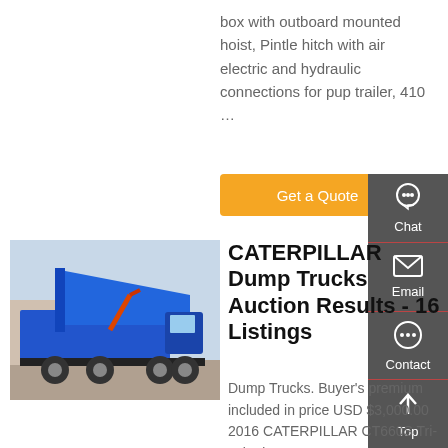box with outboard mounted hoist, Pintle hitch with air electric and hydraulic connections for pup trailer, 410 …
[Figure (other): Orange 'Get a Quote' button]
[Figure (photo): Blue Caterpillar dump truck with raised bed, parked outdoors]
CATERPILLAR Dump Trucks Auction Results - 16 Listings
Dump Trucks. Buyer's premium included in price USD $3,000.00 2016 CATERPILLAR CT660S Tri-axle dump. CAT CT13, Eaton
[Figure (other): Right sidebar with Chat, Email, Contact, and Top navigation icons on dark grey background]